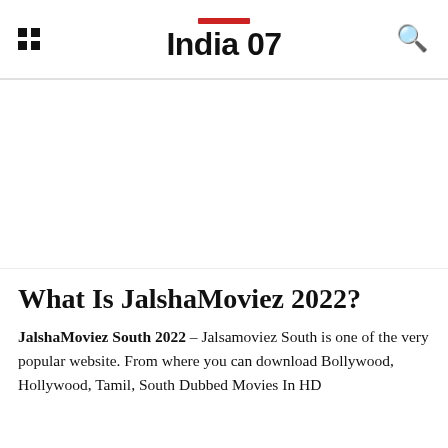India 07
[Figure (other): Advertisement/blank white area below the site header]
What Is JalshaMoviez 2022?
JalshaMoviez South 2022 – Jalsamoviez South is one of the very popular website. From where you can download Bollywood, Hollywood, Tamil, South Dubbed Movies In HD...